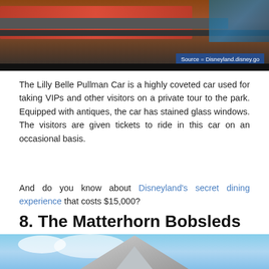[Figure (photo): Top portion of a train car image with a source badge reading 'Source = Disneyland.disney.go']
The Lilly Belle Pullman Car is a highly coveted car used for taking VIPs and other visitors on a private tour to the park. Equipped with antiques, the car has stained glass windows. The visitors are given tickets to ride in this car on an occasional basis.
And do you know about Disneyland's secret dining experience that costs $15,000?
8. The Matterhorn Bobsleds Has a Basketball Court Inside
[Figure (photo): Bottom portion of image showing the Matterhorn mountain at Disneyland with blue sky and clouds]